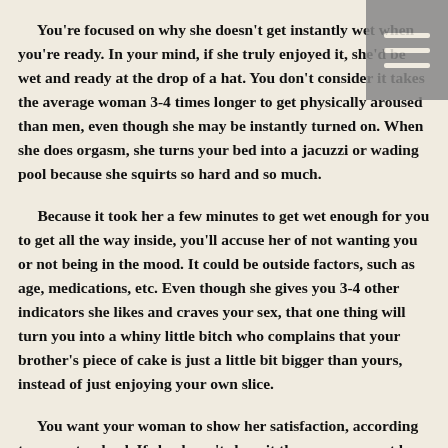You're focused on why she doesn't get instantly wet when you're ready. In your mind, if she truly enjoyed it, she'd be wet and ready at the drop of a hat. You don't consider it takes the average woman 3-4 times longer to get physically aroused than men, even though she may be instantly turned on. When she does orgasm, she turns your bed into a jacuzzi or wading pool because she squirts so hard and so much.
Because it took her a few minutes to get wet enough for you to get all the way inside, you'll accuse her of not wanting you or not being in the mood. It could be outside factors, such as age, medications, etc. Even though she gives you 3-4 other indicators she likes and craves your sex, that one thing will turn you into a whiny little bitch who complains that your brother's piece of cake is just a little bit bigger than yours, instead of just enjoying your own slice.
You want your woman to show her satisfaction, according to your standard. If she doesn't show it the way you want her to, you'll get pissed, throw a tantrum, and not want to fuck at all. If things